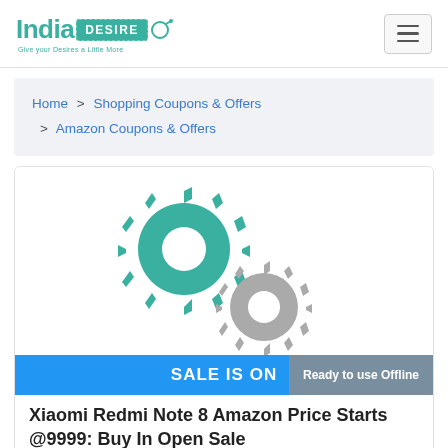[Figure (logo): India Desire logo with teal text and dashed tag badge]
Home > Shopping Coupons & Offers > Amazon Coupons & Offers
[Figure (illustration): Two interlocking gear icons, one teal/green and one grey, on white background]
SALE IS ON
Ready to use Offline
Xiaomi Redmi Note 8 Amazon Price Starts @9999: Buy In Open Sale